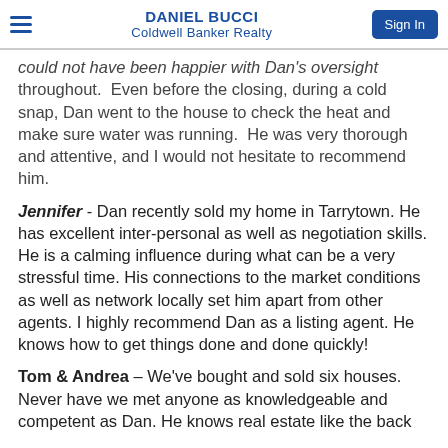DANIEL BUCCI
Coldwell Banker Realty
could not have been happier with Dan's oversight throughout. Even before the closing, during a cold snap, Dan went to the house to check the heat and make sure water was running. He was very thorough and attentive, and I would not hesitate to recommend him.
Jennifer - Dan recently sold my home in Tarrytown. He has excellent inter-personal as well as negotiation skills. He is a calming influence during what can be a very stressful time. His connections to the market conditions as well as network locally set him apart from other agents. I highly recommend Dan as a listing agent. He knows how to get things done and done quickly!
Tom & Andrea – We've bought and sold six houses. Never have we met anyone as knowledgeable and competent as Dan. He knows real estate like the back